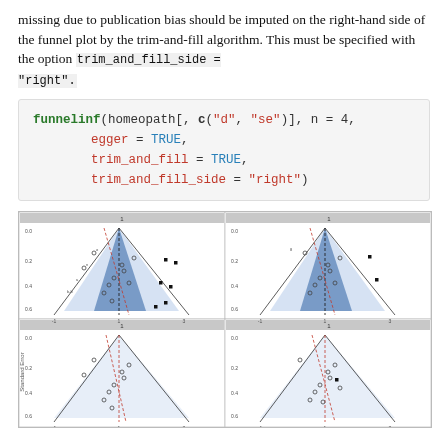missing due to publication bias should be imputed on the right-hand side of the funnel plot by the trim-and-fill algorithm. This must be specified with the option trim_and_fill_side = "right".
funnelinf(homeopath[, c("d", "se")], n = 4,
      egger = TRUE,
      trim_and_fill = TRUE,
      trim_and_fill_side = "right")
[Figure (other): 2x2 grid of funnel plots showing standard error vs effect size with trim-and-fill analysis, Egger's test lines, and confidence regions shaded in blue]